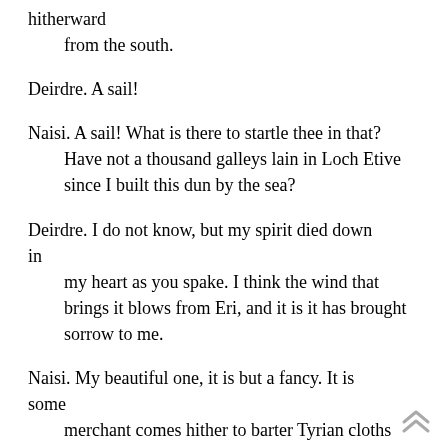hitherward
    from the south.
Deirdre. A sail!
Naisi. A sail! What is there to startle thee in that?
    Have not a thousand galleys lain in Loch Etive
    since I built this dun by the sea?
Deirdre. I do not know, but my spirit died down in
    my heart as you spake. I think the wind that
    brings it blows from Eri, and it is it has brought
    sorrow to me.
Naisi. My beautiful one, it is but a fancy. It is some
    merchant comes hither to barter Tyrian cloths